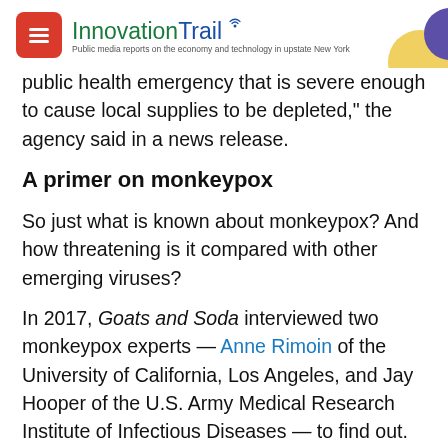InnovationTrail — Public media reports on the economy and technology in upstate New York
public health emergency that is severe enough to cause local supplies to be depleted," the agency said in a news release.
A primer on monkeypox
So just what is known about monkeypox? And how threatening is it compared with other emerging viruses?
In 2017, Goats and Soda interviewed two monkeypox experts — Anne Rimoin of the University of California, Los Angeles, and Jay Hooper of the U.S. Army Medical Research Institute of Infectious Diseases — to find out.